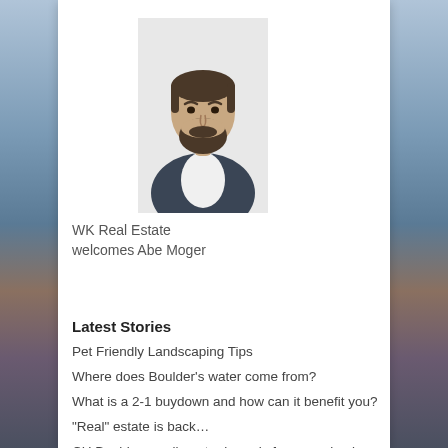[Figure (photo): Headshot of a bearded man in a dark blazer against a white background]
WK Real Estate welcomes Abe Moger
Latest Stories
Pet Friendly Landscaping Tips
Where does Boulder's water come from?
What is a 2-1 buydown and how can it benefit you?
“Real” estate is back…
CU Boulder enrollment rebounds from pandemic declines, housing impact